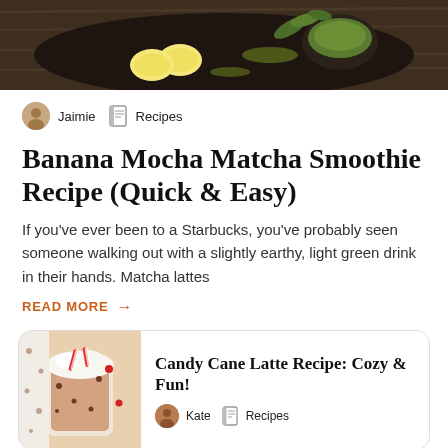[Figure (photo): Top food photo showing banana slices, matcha powder in a bowl, and herbs on a dark plate against a wooden surface]
Jaimie  Recipes
Banana Mocha Matcha Smoothie Recipe (Quick & Easy)
If you've ever been to a Starbucks, you've probably seen someone walking out with a slightly earthy, light green drink in their hands. Matcha lattes
READ MORE →
[Figure (photo): Candy cane latte with whipped cream and candy cane pieces in a glass mug]
Candy Cane Latte Recipe: Cozy & Fun!
Kate  Recipes